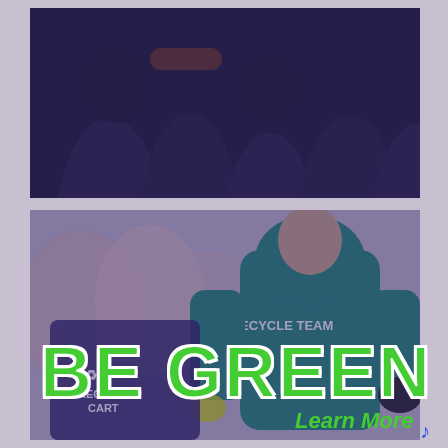[Figure (photo): Top photo showing silhouettes of people from behind with a dark navy/purple overlay]
[Figure (photo): Photo of a person wearing a teal/green hoodie that reads 'RECYCLE TEAM' on the back, holding a recycle cart, surrounded by blurred crowd. A blue-purple overlay tints the image. Text overlaid: 'BE GREEN' in large bold green letters with white stroke, and 'Learn More' in green italic text at bottom right.]
BE GREEN
Learn More